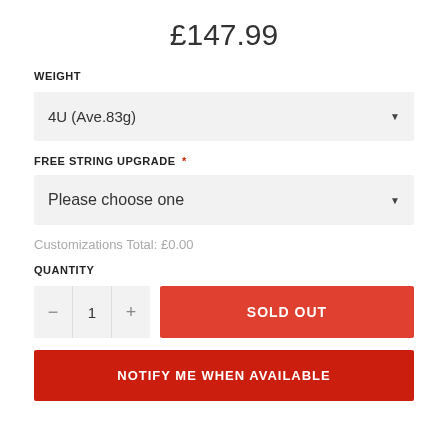£147.99
WEIGHT
4U (Ave.83g)
FREE STRING UPGRADE *
Please choose one
Customizations Total: £0.00
QUANTITY
− 1 + SOLD OUT
NOTIFY ME WHEN AVAILABLE